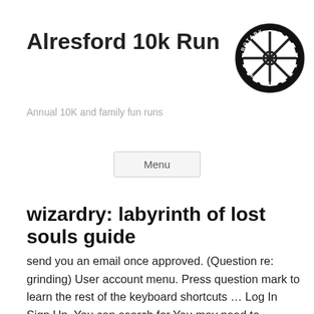Alresford 10k Run
[Figure (logo): Rotary International circular gear logo in black and white]
Annual 10K and family fun runs
Menu
wizardry: labyrinth of lost souls guide
send you an email once approved. (Question re: grinding) User account menu. Press question mark to learn the rest of the keyboard shortcuts … Log In Sign Up. You can search for You may need to download version 2.0 now from the Chrome Web Store. Español - Latinoamérica (Spanish - Latin America). The best place to get cheats, codes, cheat codes,